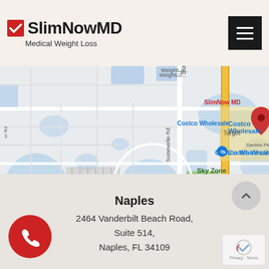[Figure (logo): SlimNowMD Medical Weight Loss logo with checkmark icon]
[Figure (map): Google Maps screenshot showing SlimNow MD location near Costco Wholesale, Target, and Sky Zone Trampoline Park in Fort Myers/Naples area, with red location pin on Summerlin Rd]
Naples
2464 Vanderbilt Beach Road,
Suite 514,
Naples, FL 34109